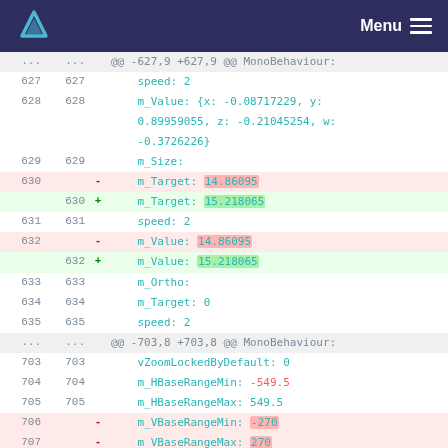Menu
| old_ln | new_ln | op | code |
| --- | --- | --- | --- |
| ... | ... |  | @@ -627,9 +627,9 @@ MonoBehaviour: |
| 627 | 627 |  |     speed: 2 |
| 628 | 628 |  |     m_Value: {x: -0.08717229, y: 0.89959055, z: -0.21045254, w: -0.3726226} |
| 629 | 629 |  |     m_Size: |
| 630 |  | - |     m_Target: 14.86095 |
|  | 630 | + |     m_Target: 15.218065 |
| 631 | 631 |  |     speed: 2 |
| 632 |  | - |     m_Value: 14.86095 |
|  | 632 | + |     m_Value: 15.218065 |
| 633 | 633 |  |     m_Ortho: |
| 634 | 634 |  |     m_Target: 0 |
| 635 | 635 |  |     speed: 2 |
| ... | ... |  | @@ -703,8 +703,8 @@ MonoBehaviour: |
| 703 | 703 |  |     vZoomLockedByDefault: 0 |
| 704 | 704 |  |     m_HBaseRangeMin: -549.5 |
| 705 | 705 |  |     m_HBaseRangeMax: 549.5 |
| 706 |  | - |     m_VBaseRangeMin: -270 |
| 707 |  | - |     m_VBaseRangeMax: 270 |